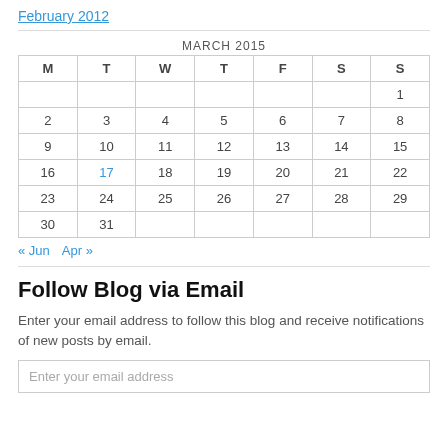February 2012
| M | T | W | T | F | S | S |
| --- | --- | --- | --- | --- | --- | --- |
|  |  |  |  |  |  | 1 |
| 2 | 3 | 4 | 5 | 6 | 7 | 8 |
| 9 | 10 | 11 | 12 | 13 | 14 | 15 |
| 16 | 17 | 18 | 19 | 20 | 21 | 22 |
| 23 | 24 | 25 | 26 | 27 | 28 | 29 |
| 30 | 31 |  |  |  |  |  |
« Jun   Apr »
Follow Blog via Email
Enter your email address to follow this blog and receive notifications of new posts by email.
Enter your email address